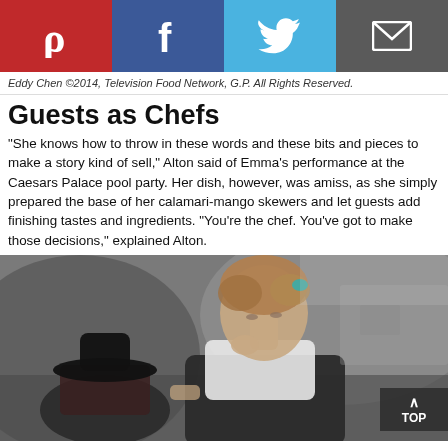[Figure (other): Social sharing buttons bar: Pinterest (red), Facebook (dark blue), Twitter (light blue), Email (dark grey)]
Eddy Chen ©2014, Television Food Network, G.P. All Rights Reserved.
Guests as Chefs
"She knows how to throw in these words and these bits and pieces to make a story kind of sell," Alton said of Emma's performance at the Caesars Palace pool party. Her dish, however, was amiss, as she simply prepared the base of her calamari-mango skewers and let guests add finishing tastes and ingredients. "You're the chef. You've got to make those decisions," explained Alton.
[Figure (photo): Photo of a young woman with curly hair pinned up with a teal accessory, wearing a white top and dark apron, leaning over her work. In the background, a person wearing a black cowboy hat is visible. Kitchen setting.]